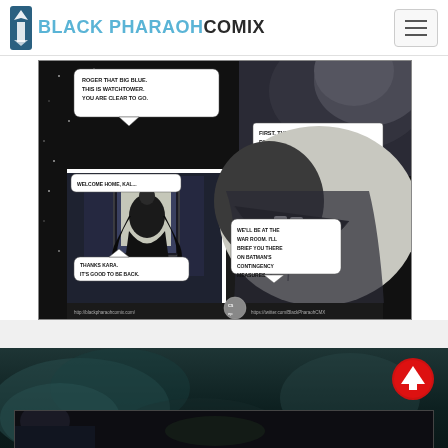BLACK PHARAOH COMIX
[Figure (illustration): Comic book page showing superhero scenes in black and white/grayscale. Top panel: space scene with text bubble 'ROGER THAT BIG BLUE. THIS IS WATCHTOWER. YOU ARE CLEAR TO GO.' and caption box 'FIRST, THEY WENT FOR THE BIG GUNS.' Bottom left panel: interior scene with cloaked figure and text 'WELCOME HOME, KAL...' and 'THANKS KARA. IT'S GOOD TO BE BACK.' Bottom right panel: close-up of face/mouth with text 'WE'LL BE AT THE WAR ROOM. I'LL BRIEF YOU THERE ON BATMAN'S CONTINGENCY MEASURES.' Footer shows URLs: http://blackpharaohcomix.com/ and https://twitter.com/BlackPharaohCMX with issue number C5 ep]
[Figure (illustration): Partial view of next comic page showing dark scene with figure, teal/dark teal background with smoke or energy effects]